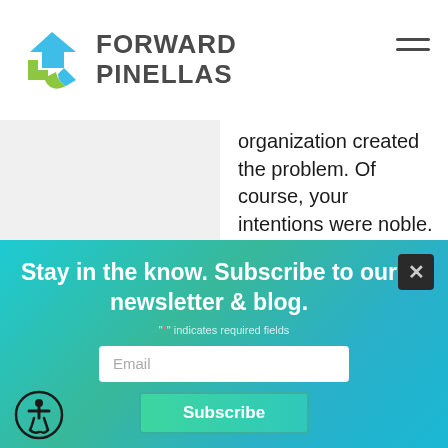[Figure (logo): Forward Pinellas logo with colorful arrow icon and bold text FORWARD PINELLAS]
organization created the problem. Of course, your intentions were noble. The failure was in the lack of planning and the short time span in which the implementation was initiated,
Stay in the know. Subscribe to our newsletter & blog.
"*" indicates required fields
Email
Subscribe